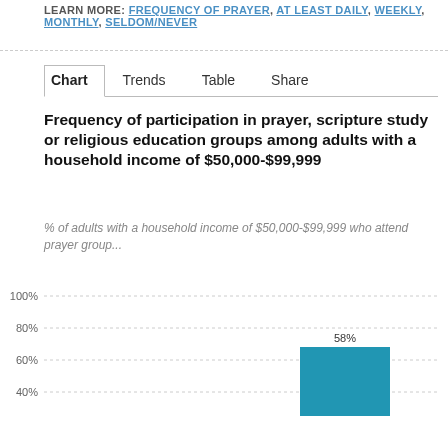LEARN MORE: FREQUENCY OF PRAYER, AT LEAST DAILY, WEEKLY, MONTHLY, SELDOM/NEVER
Chart  Trends  Table  Share
Frequency of participation in prayer, scripture study or religious education groups among adults with a household income of $50,000-$99,999
% of adults with a household income of $50,000-$99,999 who attend prayer group...
[Figure (bar-chart): Frequency of participation in prayer, scripture study or religious education groups among adults with a household income of $50,000-$99,999]